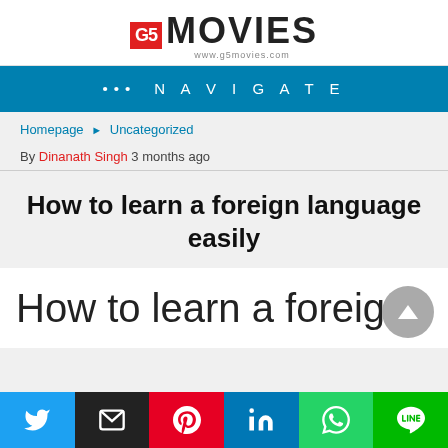G5 MOVIES www.g5movies.com
••• NAVIGATE
Homepage ▶ Uncategorized
By Dinanath Singh 3 months ago
How to learn a foreign language easily
How to learn a foreign
[Figure (screenshot): Social sharing bar with Twitter, Email, Pinterest, LinkedIn, WhatsApp, and LINE buttons]